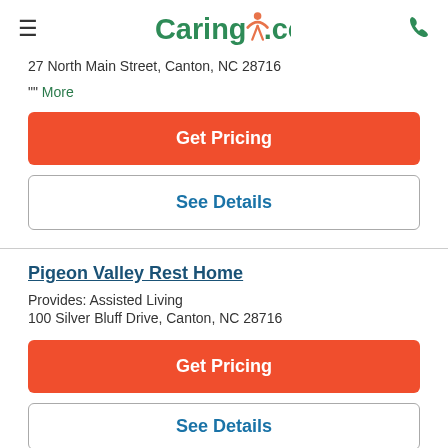Caring.com
27 North Main Street, Canton, NC 28716
"" More
Get Pricing
See Details
Pigeon Valley Rest Home
Provides: Assisted Living
100 Silver Bluff Drive, Canton, NC 28716
Get Pricing
See Details